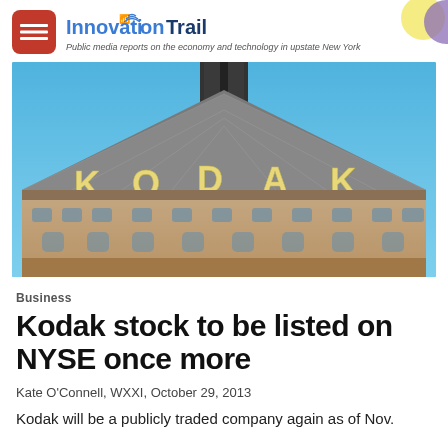InnovationTrail — Public media reports on the economy and technology in upstate New York
[Figure (photo): Photograph of the top of the Kodak building with large golden KODAK letters on the roofline against a blue sky]
Business
Kodak stock to be listed on NYSE once more
Kate O'Connell, WXXI,  October 29, 2013
Kodak will be a publicly traded company again as of Nov.